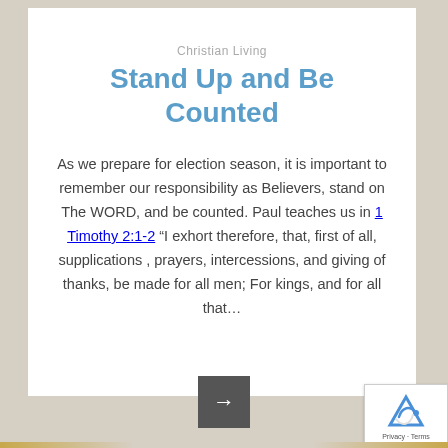Christian Living
Stand Up and Be Counted
As we prepare for election season, it is important to remember our responsibility as Believers, stand on The WORD, and be counted. Paul teaches us in 1 Timothy 2:1-2 “I exhort therefore, that, first of all, supplications , prayers, intercessions, and giving of thanks, be made for all men; For kings, and for all that…